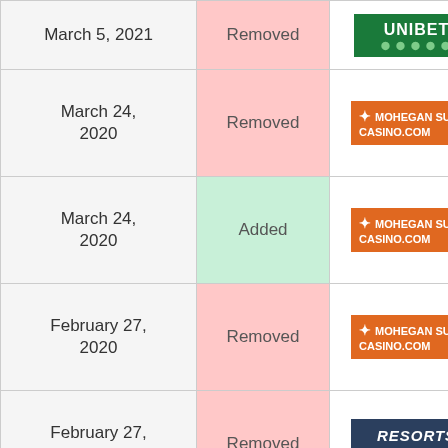| Date | Status | Brand |
| --- | --- | --- |
| March 5, 2021 | Removed | Unibet |
| March 24, 2020 | Removed | Mohegan Sun Casino.com |
| March 24, 2020 | Added | Mohegan Sun Casino.com |
| February 27, 2020 | Removed | Mohegan Sun Casino.com |
| February 27, 2020 | Removed | Resorts Casino.com |
| June 6, 2019 | Added | Unibet |